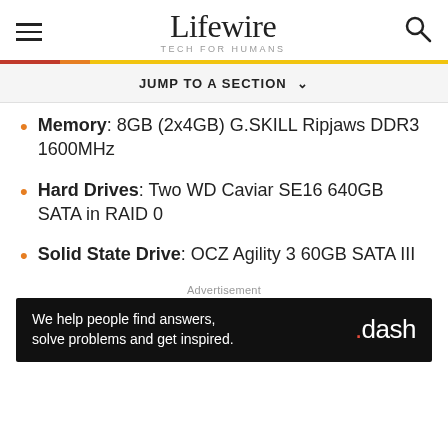Lifewire TECH FOR HUMANS
JUMP TO A SECTION
Memory: 8GB (2x4GB) G.SKILL Ripjaws DDR3 1600MHz
Hard Drives: Two WD Caviar SE16 640GB SATA in RAID 0
Solid State Drive: OCZ Agility 3 60GB SATA III
Advertisement
[Figure (other): dash advertisement banner: 'We help people find answers, solve problems and get inspired. .dash']